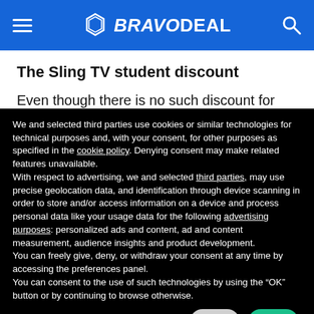BRAVODEAL
The Sling TV student discount
Even though there is no such discount for students,
We and selected third parties use cookies or similar technologies for technical purposes and, with your consent, for other purposes as specified in the cookie policy. Denying consent may make related features unavailable.
With respect to advertising, we and selected third parties, may use precise geolocation data, and identification through device scanning in order to store and/or access information on a device and process personal data like your usage data for the following advertising purposes: personalized ads and content, ad and content measurement, audience insights and product development.
You can freely give, deny, or withdraw your consent at any time by accessing the preferences panel.
You can consent to the use of such technologies by using the “OK” button or by continuing to browse otherwise.